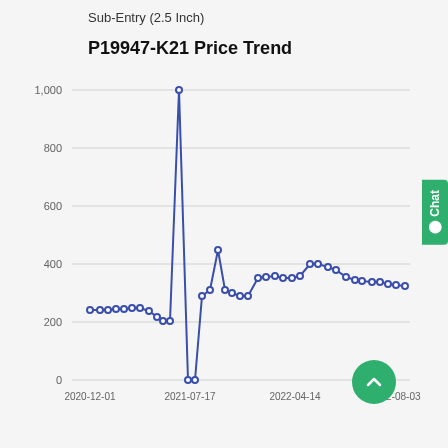Sub-Entry (2.5 Inch)
P19947-K21 Price Trend
[Figure (line-chart): P19947-K21 Price Trend]